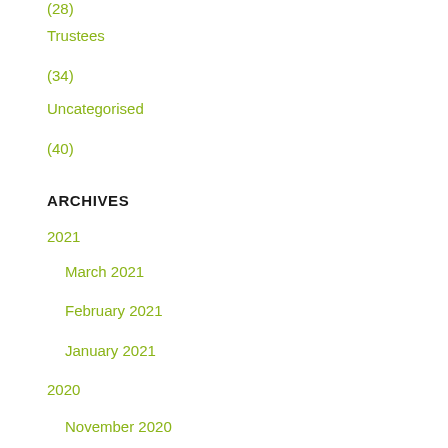(28)
Trustees
(34)
Uncategorised
(40)
ARCHIVES
2021
March 2021
February 2021
January 2021
2020
November 2020